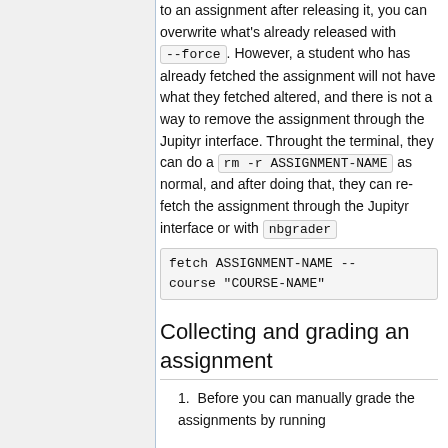to an assignment after releasing it, you can overwrite what's already released with --force. However, a student who has already fetched the assignment will not have what they fetched altered, and there is not a way to remove the assignment through the Jupityr interface. Throught the terminal, they can do a rm -r ASSIGNMENT-NAME as normal, and after doing that, they can re-fetch the assignment through the Jupityr interface or with nbgrader fetch ASSIGNMENT-NAME --course "COURSE-NAME"
Collecting and grading an assignment
Before you can manually grade the assignments by running